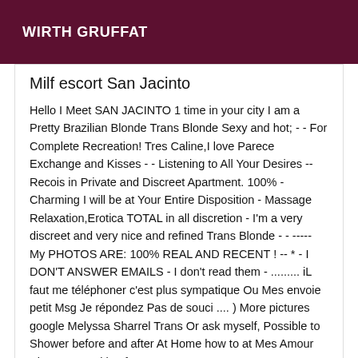WIRTH GRUFFAT
Milf escort San Jacinto
Hello I Meet SAN JACINTO 1 time in your city I am a Pretty Brazilian Blonde Trans Blonde Sexy and hot; - - For Complete Recreation! Tres Caline,I love Parece Exchange and Kisses - - Listening to All Your Desires -- Recois in Private and Discreet Apartment. 100% - Charming I will be at Your Entire Disposition - Massage Relaxation,Erotica TOTAL in all discretion - I'm a very discreet and very nice and refined Trans Blonde - - ----- My PHOTOS ARE: 100% REAL AND RECENT ! -- * - I DON'T ANSWER EMAILS - I don't read them - ......... iL faut me téléphoner c'est plus sympatique Ou Mes envoie petit Msg Je répondez Pas de souci .... ) More pictures google Melyssa Sharrel Trans Or ask myself, Possible to Shower before and after At Home how to at Mes Amour Kisses I'm waiting for you very warm
[Figure (photo): Partial photo visible at the bottom of the page, dark tones]